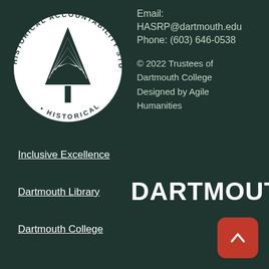[Figure (logo): Historical Accountability Student Research Program circular logo with a pine tree in the center on a white circle, dark green background, text around the perimeter reading HISTORICAL ACCOUNTABILITY STUDENT RESEARCH PROGRAM]
Email:
HASRP@dartmouth.edu
Phone: (603) 646-0538
© 2022 Trustees of Dartmouth College Designed by Agile Humanities
Inclusive Excellence
DARTMOUTH
Dartmouth Library
Dartmouth College